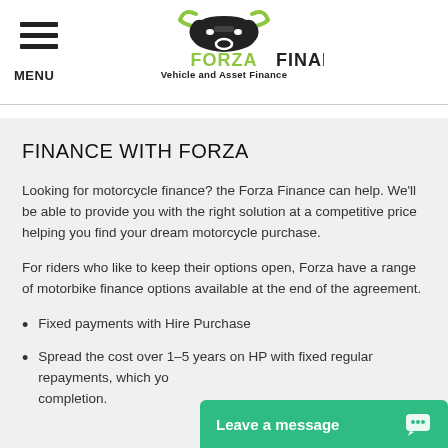[Figure (logo): Forza Finance logo with bull head icon in dark and green colors, text reads FORZA FINANCE Vehicle and Asset Finance]
FINANCE WITH FORZA
Looking for motorcycle finance? the Forza Finance can help. We'll be able to provide you with the right solution at a competitive price helping you find your dream motorcycle purchase.
For riders who like to keep their options open, Forza have a range of motorbike finance options available at the end of the agreement.
Fixed payments with Hire Purchase
Spread the cost over 1-5 years on HP with fixed regular repayments, which you... completion.